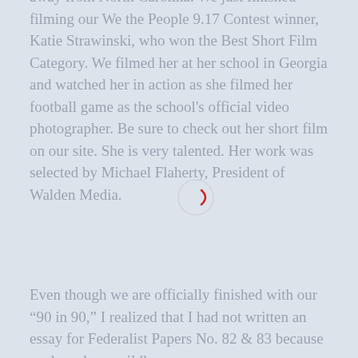...away from North Carolina. We just finished filming our We the People 9.17 Contest winner, Katie Strawinski, who won the Best Short Film Category. We filmed her at her school in Georgia and watched her in action as she filmed her football game as the school's official video photographer. Be sure to check out her short film on our site. She is very talented. Her work was selected by Michael Flaherty, President of Walden Media.
Even though we are officially finished with our “90 in 90,” I realized that I had not written an essay for Federalist Papers No. 82 & 83 because we have been wildly...